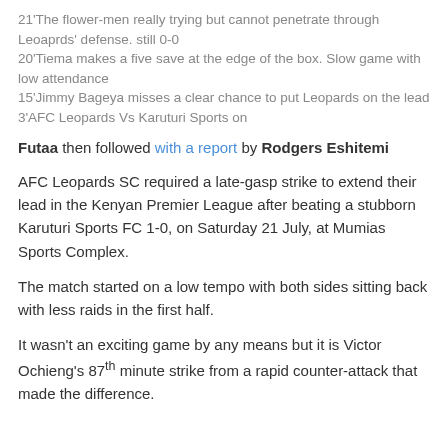21'The flower-men really trying but cannot penetrate through Leoaprds' defense. still 0-0
20'Tiema makes a five save at the edge of the box. Slow game with low attendance
15'Jimmy Bageya misses a clear chance to put Leopards on the lead
3'AFC Leopards Vs Karuturi Sports on
Futaa then followed with a report by Rodgers Eshitemi
AFC Leopards SC required a late-gasp strike to extend their lead in the Kenyan Premier League after beating a stubborn Karuturi Sports FC 1-0, on Saturday 21 July, at Mumias Sports Complex.
The match started on a low tempo with both sides sitting back with less raids in the first half.
It wasn't an exciting game by any means but it is Victor Ochieng's 87th minute strike from a rapid counter-attack that made the difference.